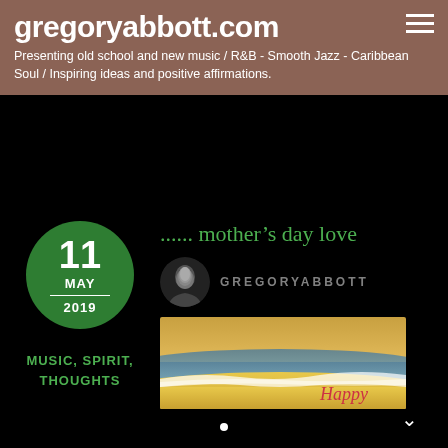gregoryabbott.com
Presenting old school and new music / R&B - Smooth Jazz - Caribbean Soul / Inspiring ideas and positive affirmations.
11 MAY 2019
MUSIC, SPIRIT, THOUGHTS
...... mother’s day love
GREGORYABBOTT
[Figure (photo): Beach scene with waves and sand, with cursive text 'Happy' in red/pink on the right side]